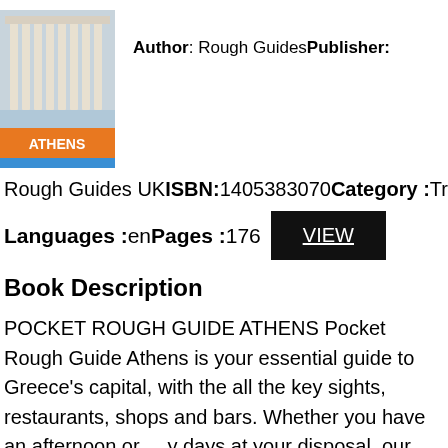[Figure (photo): Book cover of Pocket Rough Guide Athens showing the Acropolis columns and an orange banner with 'ATHENS' text]
Author: Rough GuidesPublisher:
Rough Guides UKISBN:1405383070Category :Travel
Languages :enPages :176
VIEW
Book Description
POCKET ROUGH GUIDE ATHENS Pocket Rough Guide Athens is your essential guide to Greece's capital, with the all the key sights, restaurants, shops and bars. Whether you have an afternoon or y days at your disposal, our itineraries help you n your trip, and the Best of section picks out the